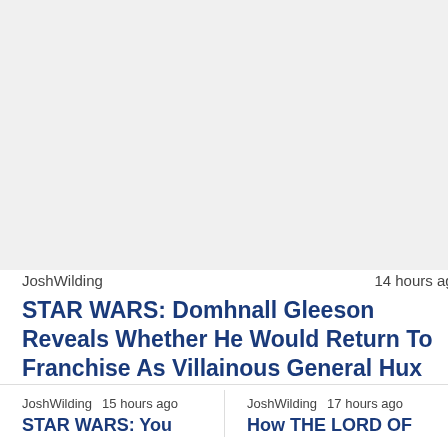[Figure (photo): Article thumbnail image placeholder (top story)]
JoshWilding    14 hours ago
STAR WARS: Domhnall Gleeson Reveals Whether He Would Return To Franchise As Villainous General Hux
[Figure (photo): Article thumbnail image placeholder (bottom left story)]
JoshWilding   15 hours ago
STAR WARS: You
[Figure (photo): Article thumbnail image placeholder (bottom right story)]
JoshWilding   17 hours ago
How THE LORD OF THE RINGS: THE